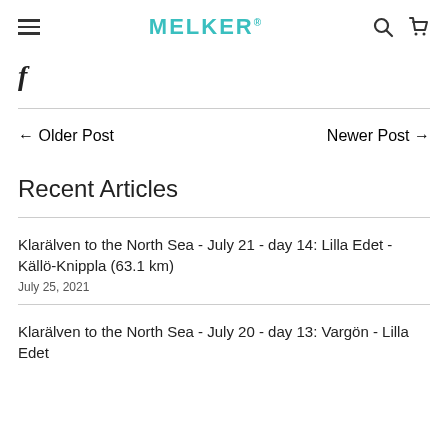MELKER® [hamburger menu] [search] [cart]
[Figure (logo): Facebook 'f' icon]
← Older Post    Newer Post →
Recent Articles
Klarälven to the North Sea - July 21 - day 14: Lilla Edet - Källö-Knippla (63.1 km)
July 25, 2021
Klarälven to the North Sea - July 20 - day 13: Vargön - Lilla Edet